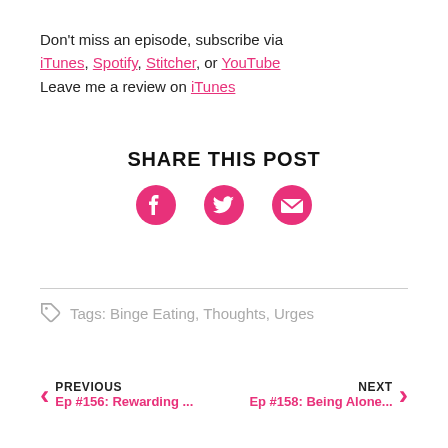Don't miss an episode, subscribe via iTunes, Spotify, Stitcher, or YouTube
Leave me a review on iTunes
SHARE THIS POST
[Figure (infographic): Three social sharing icons in pink: Facebook, Twitter, and Email/envelope]
Tags: Binge Eating, Thoughts, Urges
PREVIOUS Ep #156: Rewarding ...
NEXT Ep #158: Being Alone...